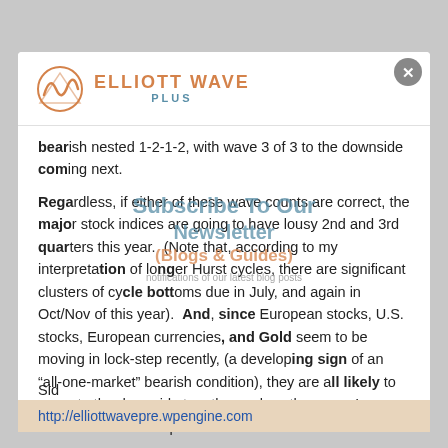ELLIOTT WAVE PLUS
bearish nested 1-2-1-2, with wave 3 of 3 to the downside coming next.
Regardless, if either of these wave counts are correct, the major stock indices are going to have lousy 2nd and 3rd quarters this year. (Note that, according to my interpretation of longer Hurst cycles, there are significant clusters of cycle bottoms due in July, and again in Oct/Nov of this year). And, since European stocks, U.S. stocks, European currencies, and Gold seem to be moving in lock-step recently, (a developing sign of an “all-one-market” bearish condition), they are all likely to move to the downside together, unless the current correlations break apart.
Sid
http://elliottwavepre.wpengine.com